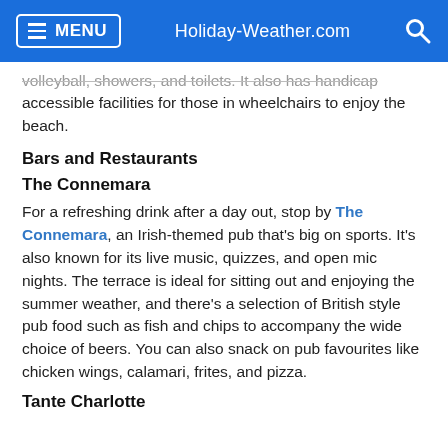MENU   Holiday-Weather.com
volleyball, showers, and toilets. It also has handicap accessible facilities for those in wheelchairs to enjoy the beach.
Bars and Restaurants
The Connemara
For a refreshing drink after a day out, stop by The Connemara, an Irish-themed pub that's big on sports. It's also known for its live music, quizzes, and open mic nights. The terrace is ideal for sitting out and enjoying the summer weather, and there's a selection of British style pub food such as fish and chips to accompany the wide choice of beers. You can also snack on pub favourites like chicken wings, calamari, frites, and pizza.
Tante Charlotte